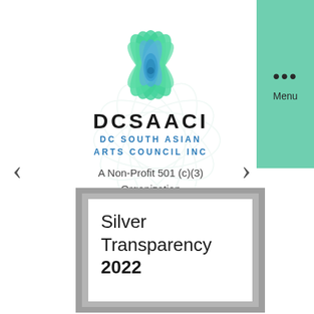[Figure (logo): DCSAACI DC South Asian Arts Council Inc logo with green lotus flower graphic and organization name text. Below: 'A Non-Profit 501 (c)(3) Organization']
[Figure (other): Green navigation menu bar in top-right corner with three dots (ellipsis) and 'Menu' text]
‹
›
[Figure (other): Silver Transparency 2022 badge/seal with gray border and white interior showing text 'Silver Transparency 2022']